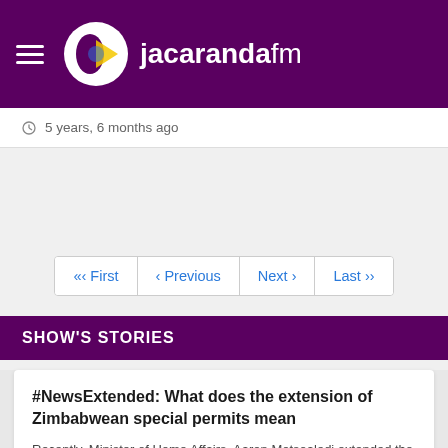jacarandafm
5 years, 6 months ago
«‹ First  ‹ Previous  Next ›  Last ››
SHOW'S STORIES
#NewsExtended: What does the extension of Zimbabwean special permits mean
Recently, Minister of Home Affairs, Aaron Motsoaledi extended the validi...
The Drive with Rob & Roz